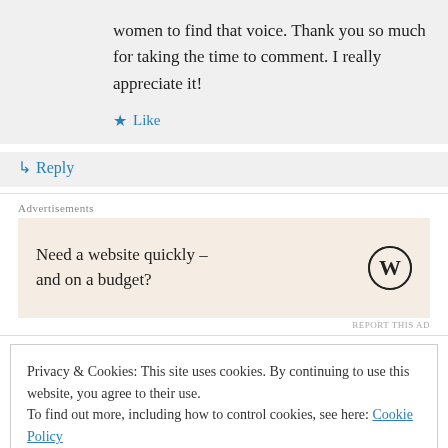women to find that voice. Thank you so much for taking the time to comment. I really appreciate it!
★ Like
↳ Reply
Advertisements
[Figure (other): WordPress advertisement box: 'Need a website quickly – and on a budget?' with WordPress logo]
REPORT THIS AD
Privacy & Cookies: This site uses cookies. By continuing to use this website, you agree to their use.
To find out more, including how to control cookies, see here: Cookie Policy
Close and accept
Thanks for visiting my blog. Be in touch. Browse